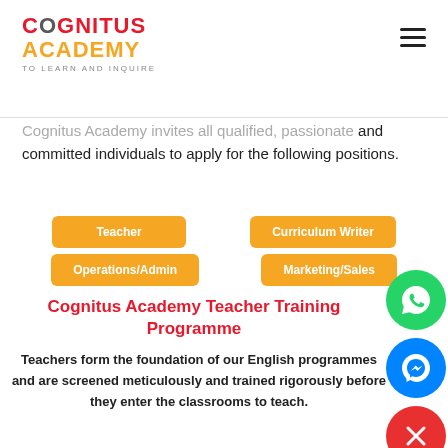[Figure (logo): Cognitus Academy logo with tagline 'TO LEARN AND INQUIRE']
Cognitus Academy invites all qualified, passionate and committed individuals to apply for the following positions.
Teacher
Curriculum Writer
Operations/Admin
Marketing/Sales
Cognitus Academy Teacher Training Programme
Teachers form the foundation of our English programmes and are screened meticulously and trained rigorously before they enter the classrooms to teach.